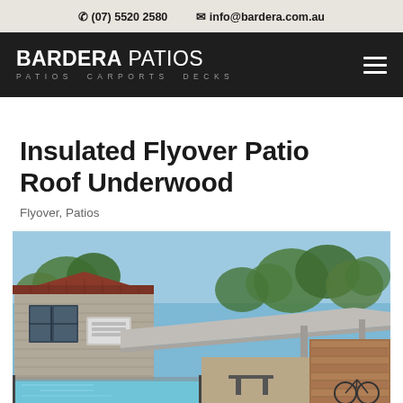(07) 5520 2580  info@bardera.com.au
[Figure (logo): Bardera Patios logo — white text on dark background with hamburger menu icon. Logo reads BARDERA PATIOS with tagline PATIOS CARPORTS DECKS]
Insulated Flyover Patio Roof Underwood
Flyover, Patios
[Figure (photo): Outdoor photograph of a residential property showing an insulated flyover patio roof over a pool area. A two-storey brick home with tile roof and air conditioning unit is visible on the left. Trees are in the background under a blue sky. The patio roof extends to cover an outdoor entertaining area with timber deck elements on the right.]